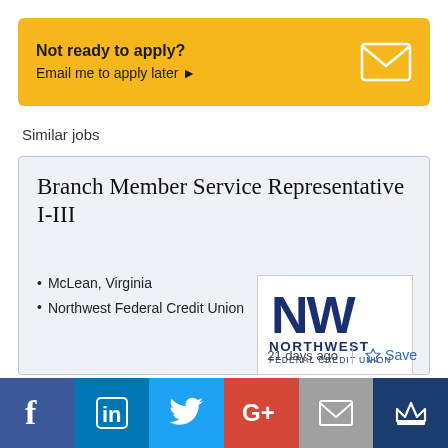[Figure (infographic): Yellow banner with 'Not ready to apply?' in bold, 'Email me to apply later ▶' below, and a white envelope icon on the right]
Similar jobs
Branch Member Service Representative I-III
McLean, Virginia
Northwest Federal Credit Union
[Figure (logo): Northwest Federal Credit Union logo — NW monogram in dark blue with 'NORTHWEST FEDERAL CREDIT UNION' text below]
21 days ago
☆ Save
[Figure (infographic): Social sharing bar with Facebook, LinkedIn, Twitter, Google+, Email, and crown icons]